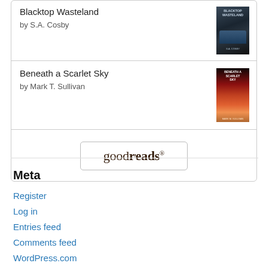Blacktop Wasteland
by S.A. Cosby
[Figure (illustration): Book cover of Blacktop Wasteland by S.A. Cosby with dark tones]
Beneath a Scarlet Sky
by Mark T. Sullivan
[Figure (illustration): Book cover of Beneath a Scarlet Sky by Mark T. Sullivan with red sky]
[Figure (logo): Goodreads logo button with rounded border]
Meta
Register
Log in
Entries feed
Comments feed
WordPress.com